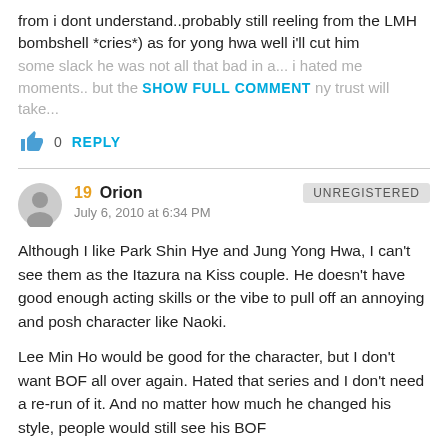from i dont understand..probably still reeling from the LMH bombshell *cries*) as for yong hwa well i'll cut him
some slack he was not all that bad in a... i hated me moments.. but the SHOW FULL COMMENT ny trust will take...
0  REPLY
19  Orion  UNREGISTERED
July 6, 2010 at 6:34 PM
Although I like Park Shin Hye and Jung Yong Hwa, I can't see them as the Itazura na Kiss couple. He doesn't have good enough acting skills or the vibe to pull off an annoying and posh character like Naoki.
Lee Min Ho would be good for the character, but I don't want BOF all over again. Hated that series and I don't need a re-run of it. And no matter how much he changed his style, people would still see his BOF